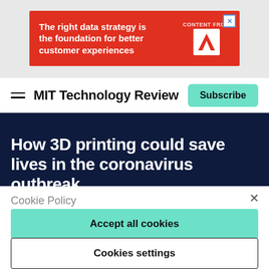[Figure (screenshot): Red advertisement banner: 'The right data strategy is the foundation for better customer experiences' with Adobe logo and 'CONTENT FROM' label]
MIT Technology Review
How 3D printing could save lives in the coronavirus outbreak
Cookie Policy
We use cookies to give you a more personalized browsing experience and analyze site traffic. See our cookie policy
Accept all cookies
Cookies settings